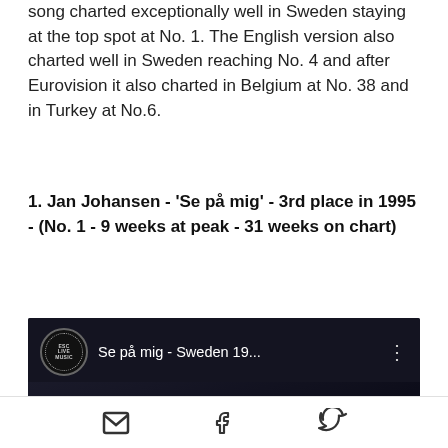song charted exceptionally well in Sweden staying at the top spot at No. 1. The English version also charted well in Sweden reaching No. 4 and after Eurovision it also charted in Belgium at No. 38 and in Turkey at No.6.
1. Jan Johansen - 'Se på mig' - 3rd place in 1995 - (No. 1 - 9 weeks at peak - 31 weeks on chart)
[Figure (screenshot): YouTube video thumbnail showing 'Se på mig - Sweden 19...' with ESC Live Music channel avatar, dark background with performer silhouettes, red play button in center]
Email share, Facebook share, Twitter share icons